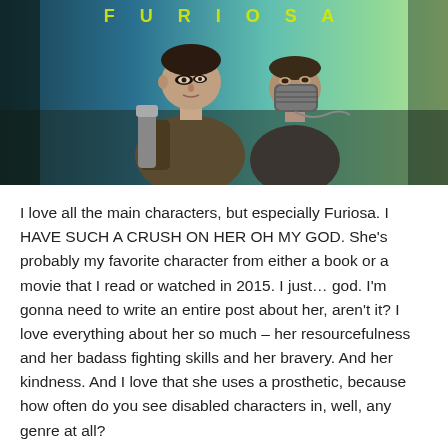[Figure (photo): Movie poster / promotional image for Mad Max: Fury Road showing two characters — Furiosa (woman with shaved head and dark eye makeup) in the foreground and Max (man with a metal mask) behind her, set against a teal/green sky background. The word 'FURIOSA' appears in yellow text at the top.]
I love all the main characters, but especially Furiosa. I HAVE SUCH A CRUSH ON HER OH MY GOD. She's probably my favorite character from either a book or a movie that I read or watched in 2015. I just… god. I'm gonna need to write an entire post about her, aren't it? I love everything about her so much – her resourcefulness and her badass fighting skills and her bravery. And her kindness. And I love that she uses a prosthetic, because how often do you see disabled characters in, well, any genre at all?
Oh yes, and this movie also has FIRE TORNADOES OF